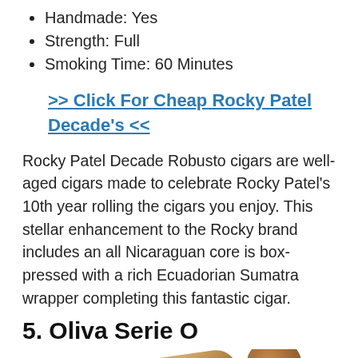Handmade: Yes
Strength: Full
Smoking Time: 60 Minutes
>> Click For Cheap Rocky Patel Decade's <<
Rocky Patel Decade Robusto cigars are well-aged cigars made to celebrate Rocky Patel’s 10th year rolling the cigars you enjoy. This stellar enhancement to the Rocky brand includes an all Nicaraguan core is box-pressed with a rich Ecuadorian Sumatra wrapper completing this fantastic cigar.
5. Oliva Serie O
[Figure (photo): Partial photo of Oliva Serie O cigars at bottom of page]